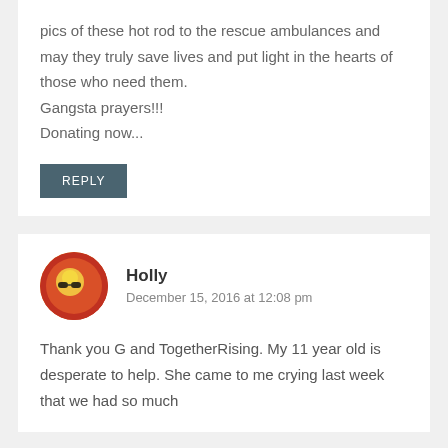pics of these hot rod to the rescue ambulances and may they truly save lives and put light in the hearts of those who need them.
Gangsta prayers!!!
Donating now...
[Figure (other): REPLY button - dark teal rectangular button with white text]
[Figure (photo): Circular avatar of Holly, showing a person with yellow-tinted appearance and sunglasses, warm red/orange tones]
Holly
December 15, 2016 at 12:08 pm
Thank you G and TogetherRising. My 11 year old is desperate to help. She came to me crying last week that we had so much